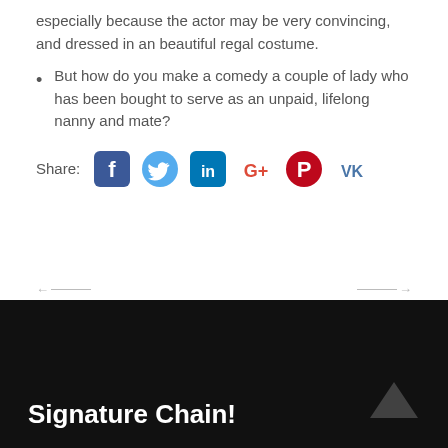especially because the actor may be very convincing, and dressed in an beautiful regal costume.
But how do you make a comedy a couple of lady who has been bought to serve as an unpaid, lifelong nanny and mate?
[Figure (other): Social media share icons row: Facebook, Twitter, LinkedIn, Google+, Pinterest, VK]
[Figure (other): Navigation arrows: left arrow on the left, right arrow on the right]
Signature Chain!